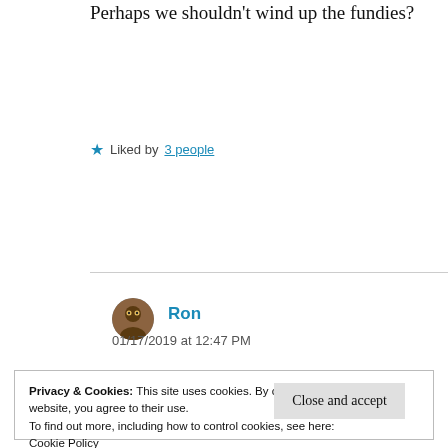Perhaps we shouldn't wind up the fundies?
★ Liked by 3 people
Reply
Ron
01/17/2019 at 12:47 PM
Privacy & Cookies: This site uses cookies. By continuing to use this website, you agree to their use.
To find out more, including how to control cookies, see here: Cookie Policy
Close and accept
when things go south